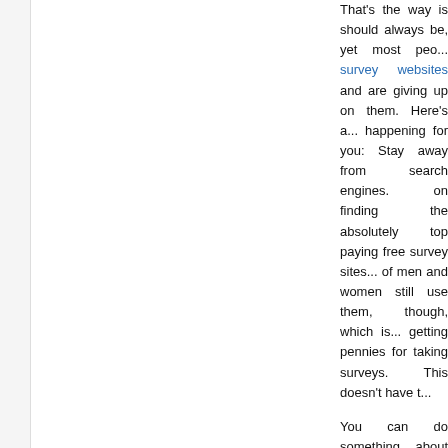That's the way is should always be, yet most peo... survey websites and are giving up on them. Here's a... happening for you: Stay away from search engines. ... on finding the absolutely top paying free survey sites... of men and women still use them, though, which is... getting pennies for taking surveys. This doesn't have t...
You can do something about this. All you do is take ... and start using the power of big forums. I know for a... fastest way to achieve exactly what we are trying to... higher paying places for taking surveys. Best of all,... you need is their handy archive section. If you click... can use their great search tool, which will instantly p... free survey sites, or the industry as a whole.
Your job just got easier than putting out the trash. Y... topics and leisurely glance at the posts. It's where yo... info about the amounts that various free survey s... surveys. Honesty is prevalent throughout these big... out all of the false info and spam. It's as simpl... complicated about it.
It gives you a wonderful option for taking surveys fro... give the most cash.
Here is a free Top 5 List of Fresh Sites to Make Mone...
Adam Woodham is an expert on the ins and outs of th...